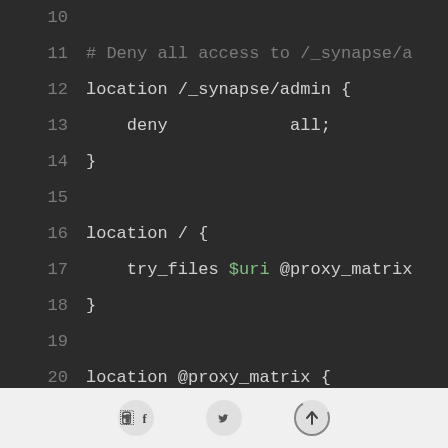[Figure (screenshot): Code editor screenshot showing nginx configuration file lines 10–26. Line 10: blank. Line 11: comment '# Deny all access to /_synapse/a'. Line 12: 'location /_synapse/admin {'. Line 13: '    deny    all;'. Line 14: '}'. Line 15: blank. Line 16: 'location / {'. Line 17: '    try_files $uri @proxy_matrix'. Line 18: '}'. Line 19: blank. Line 20: 'location @proxy_matrix {'. Line 21: '    # Increase client_max_body_s'. Line 22: '    client_max_body_size 80m;'. Line 23: blank. Line 24: '    proxy_redirect off;'. Line 25: '    proxy_http_version 1.1;'. Line 26: '    proxy_set_header Upgrade $ht']
Social share icons: Facebook, Twitter, scroll-to-top